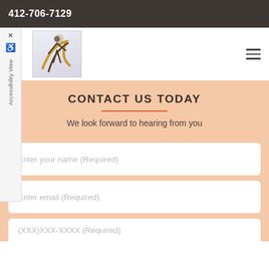412-706-7129
[Figure (logo): Logo with stylized figure and swoosh in gold/dark brown colors]
CONTACT US TODAY
We look forward to hearing from you
Enter your name (Required)
Enter email (Required)
(XXX)XXX-XXXX (Required)